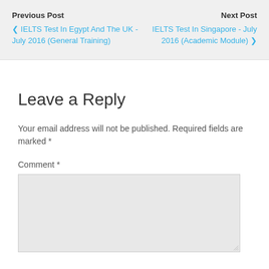Previous Post
< IELTS Test In Egypt And The UK - July 2016 (General Training)
Next Post
IELTS Test In Singapore - July 2016 (Academic Module) >
Leave a Reply
Your email address will not be published. Required fields are marked *
Comment *